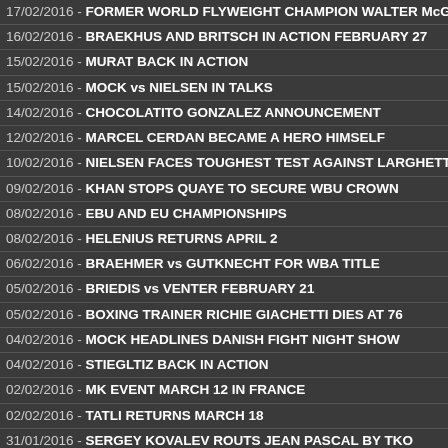17/02/2016 - FORMER WORLD FLYWEIGHT CHAMPION WALTER McGo
16/02/2016 - BRAEKHUS AND BRITSCH IN ACTION FEBRUARY 27
15/02/2016 - MURAT BACK IN ACTION
15/02/2016 - MOCK vs NIELSEN IN TALKS
14/02/2016 - CHOCOLATITO GONZALEZ ANNOUNCEMENT
12/02/2016 - MARCEL CERDAN BECAME A HERO HIMSELF
10/02/2016 - NIELSEN FACES TOUGHEST TEST AGAINST LARGHET
09/02/2016 - KHAN STOPS QUAYE TO SECURE WBU CROWN
08/02/2016 - EBU AND EU CHAMPIONSHIPS
08/02/2016 - HELENIUS RETURNS APRIL 2
06/02/2016 - BRAEHMER vs GUTKNECHT FOR WBA TITLE
05/02/2016 - BRIEDIS vs VENTER FEBRUARY 21
05/02/2016 - BOXING TRAINER RICHIE GIACHETTI DIES AT 76
04/02/2016 - MOCK HEADLINES DANISH FIGHT NIGHT SHOW
04/02/2016 - STIEGLTIZ BACK IN ACTION
02/02/2016 - MK EVENT MARCH 12 IN FRANCE
02/02/2016 - TATLI RETURNS MARCH 18
31/01/2016 - SERGEY KOVALEV ROUTS JEAN PASCAL BY TKO
31/01/2016 - SERGEY KOVALEV DESTROYS JEAN PASCAL
31/01/2016 - KOVALEV STOPS PASCAL IN A GRUDGE MATCH
31/01/2016 - GROVES STOPS DI LUISA IN FIFTH
30/01/2016 - PERSSON'S EURO NEWS
29/01/2016 - LEWANDOWSKI AND RILL IN ACTION
27/01/2016 - GGG'S NEXT FOE COULD BE DOMINIC WADE
27/01/2016 - KEITH THURMAN IS BECOMING ANNOYING
27/01/2016 - JOSHUA CLOTTEY SPEAKS
26/01/2016 - MAY AND BUDDY BAER GO TO WAR